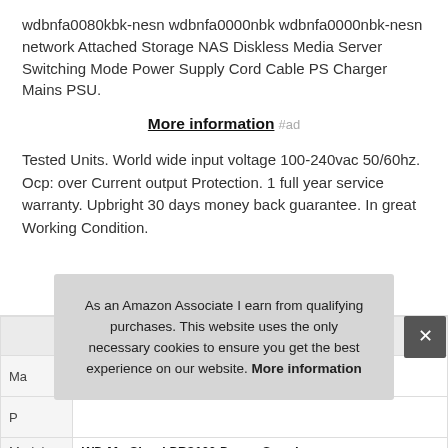wdbnfa0080kbk-nesn wdbnfa0000nbk wdbnfa0000nbk-nesn network Attached Storage NAS Diskless Media Server Switching Mode Power Supply Cord Cable PS Charger Mains PSU.
More information #ad
Tested Units. World wide input voltage 100-240vac 50/60hz. Ocp: over Current output Protection. 1 full year service warranty. Upbright 30 days money back guarantee. In great Working Condition.
| Ma |  |
| P |  |
| Model | WD My Cloud PR2100 Power Supply |
As an Amazon Associate I earn from qualifying purchases. This website uses the only necessary cookies to ensure you get the best experience on our website. More information